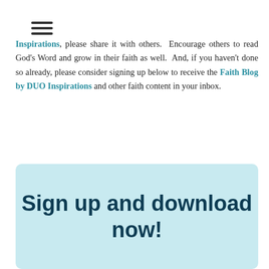≡ (hamburger menu)
Inspirations, please share it with others. Encourage others to read God's Word and grow in their faith as well. And, if you haven't done so already, please consider signing up below to receive the Faith Blog by DUO Inspirations and other faith content in your inbox.
Sign up and download now!